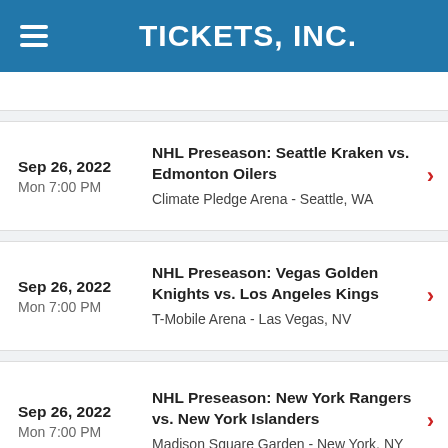TICKETS, INC.
Sep 26, 2022 Mon 7:00 PM | NHL Preseason: Seattle Kraken vs. Edmonton Oilers | Climate Pledge Arena - Seattle, WA
Sep 26, 2022 Mon 7:00 PM | NHL Preseason: Vegas Golden Knights vs. Los Angeles Kings | T-Mobile Arena - Las Vegas, NV
Sep 26, 2022 Mon 7:00 PM | NHL Preseason: New York Rangers vs. New York Islanders | Madison Square Garden - New York, NY